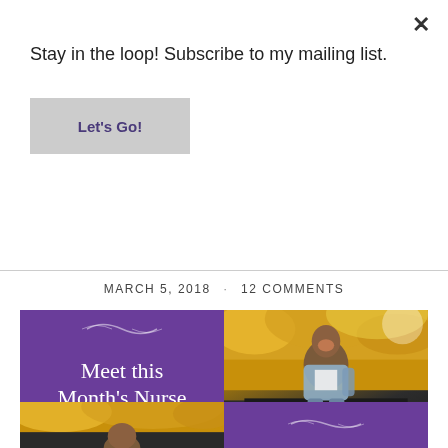Stay in the loop! Subscribe to my mailing list.
Let's Go!
×
MARCH 5, 2018 · 12 COMMENTS
[Figure (illustration): Two-panel collage: left panel is a purple graphic tile with decorative scroll ornaments and white serif text reading 'Meet this Month's Nurse'; right panel is an autumn outdoor photo of a smiling woman in a floral cardigan sitting on a bench with yellow foliage in the background.]
[Figure (photo): Bottom left: Autumn outdoor photo showing close-up of woman with yellow foliage background. Bottom right: Purple tile with decorative scroll ornament.]